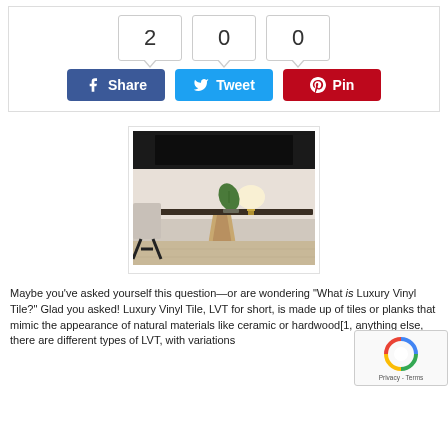[Figure (infographic): Social share counter and buttons: counts showing 2, 0, 0 with Facebook Share, Twitter Tweet, Pinterest Pin buttons]
[Figure (photo): Interior room photo showing a wooden desk with a lamp and plant, a chair, and a wall-mounted TV in the background, with light wood vinyl floor]
Maybe you've asked yourself this question—or are wondering "What is Luxury Vinyl Tile?" Glad you asked! Luxury Vinyl Tile, LVT for short, is made up of tiles or planks that mimic the appearance of natural materials like ceramic or hardwood[1, anything else, there are different types of LVT, with variations